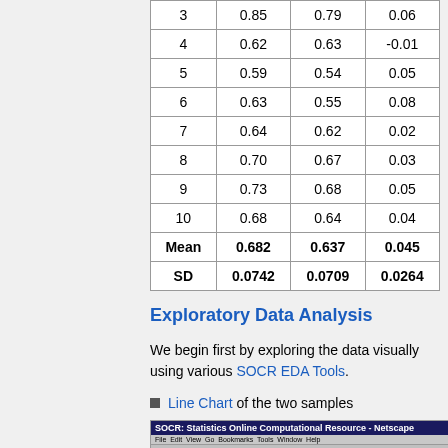| 3 | 0.85 | 0.79 | 0.06 |
| 4 | 0.62 | 0.63 | -0.01 |
| 5 | 0.59 | 0.54 | 0.05 |
| 6 | 0.63 | 0.55 | 0.08 |
| 7 | 0.64 | 0.62 | 0.02 |
| 8 | 0.70 | 0.67 | 0.03 |
| 9 | 0.73 | 0.68 | 0.05 |
| 10 | 0.68 | 0.64 | 0.04 |
| Mean | 0.682 | 0.637 | 0.045 |
| SD | 0.0742 | 0.0709 | 0.0264 |
Exploratory Data Analysis
We begin first by exploring the data visually using various SOCR EDA Tools.
Line Chart of the two samples
[Figure (screenshot): Screenshot of SOCR Statistics Online Computational Resource website in Netscape browser showing http://socr.ucla.edu/htmls/SOCR_Charts.html]